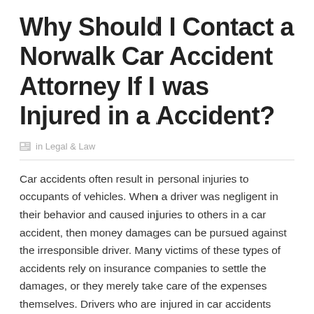Why Should I Contact a Norwalk Car Accident Attorney If I was Injured in a Accident?
in Legal & Law
Car accidents often result in personal injuries to occupants of vehicles. When a driver was negligent in their behavior and caused injuries to others in a car accident, then money damages can be pursued against the irresponsible driver. Many victims of these types of accidents rely on insurance companies to settle the damages, or they merely take care of the expenses themselves. Drivers who are injured in car accidents should know that the law may allow them to recover money damages beyond those which insurance providers typically pay. A Norwalk car accident attorney from Guldjian Law can provide legal advice to persons injured in